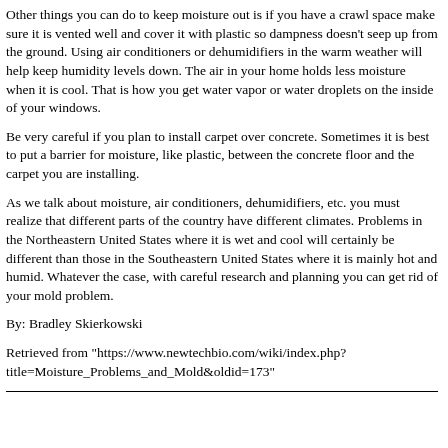Other things you can do to keep moisture out is if you have a crawl space make sure it is vented well and cover it with plastic so dampness doesn't seep up from the ground. Using air conditioners or dehumidifiers in the warm weather will help keep humidity levels down. The air in your home holds less moisture when it is cool. That is how you get water vapor or water droplets on the inside of your windows.
Be very careful if you plan to install carpet over concrete. Sometimes it is best to put a barrier for moisture, like plastic, between the concrete floor and the carpet you are installing.
As we talk about moisture, air conditioners, dehumidifiers, etc. you must realize that different parts of the country have different climates. Problems in the Northeastern United States where it is wet and cool will certainly be different than those in the Southeastern United States where it is mainly hot and humid. Whatever the case, with careful research and planning you can get rid of your mold problem.
By: Bradley Skierkowski
Retrieved from "https://www.newtechbio.com/wiki/index.php?title=Moisture_Problems_and_Mold&oldid=173"